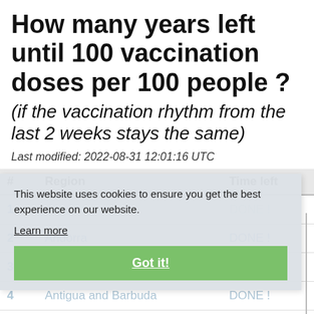How many years left until 100 vaccination doses per 100 people ?
(if the vaccination rhythm from the last 2 weeks stays the same)
Last modified: 2022-08-31 12:01:16 UTC
| # | Region | Time left |
| --- | --- | --- |
| 1 | Albania | DONE ! |
| 2 | Andorra | DONE ! |
| 3 | Anguilla | DONE ! |
| 4 | Antigua and Barbuda | DONE ! |
| 5 | Argentina | DONE ! |
This website uses cookies to ensure you get the best experience on our website. Learn more
Got it!